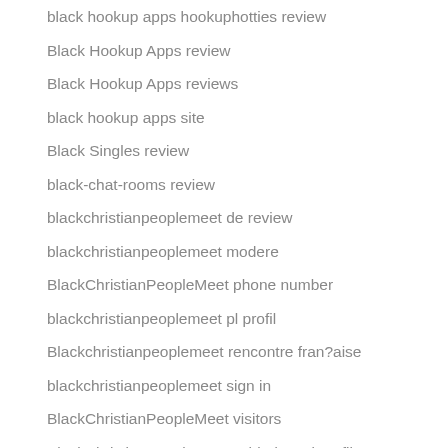black hookup apps hookuphotties review
Black Hookup Apps review
Black Hookup Apps reviews
black hookup apps site
Black Singles review
black-chat-rooms review
blackchristianpeoplemeet de review
blackchristianpeoplemeet modere
BlackChristianPeopleMeet phone number
blackchristianpeoplemeet pl profil
Blackchristianpeoplemeet rencontre fran?aise
blackchristianpeoplemeet sign in
BlackChristianPeopleMeet visitors
BlackChristianPeopleMeet vyhledavani profilu
blackchristianpeoplemeet-inceleme visitors